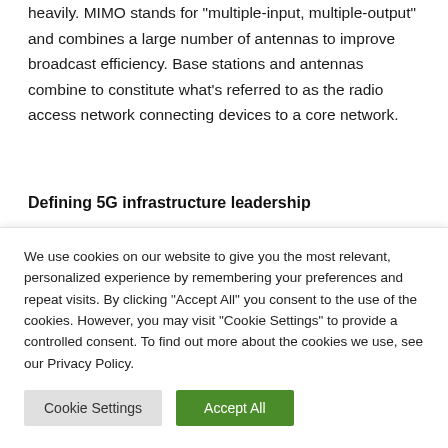heavily. MIMO stands for "multiple-input, multiple-output" and combines a large number of antennas to improve broadcast efficiency. Base stations and antennas combine to constitute what's referred to as the radio access network connecting devices to a core network.
Defining 5G infrastructure leadership
There are several factors we have determined as critical in identifying infrastructure leadership in 5G. First is a provider
We use cookies on our website to give you the most relevant, personalized experience by remembering your preferences and repeat visits. By clicking "Accept All" you consent to the use of the cookies. However, you may visit "Cookie Settings" to provide a controlled consent. To find out more about the cookies we use, see our Privacy Policy.